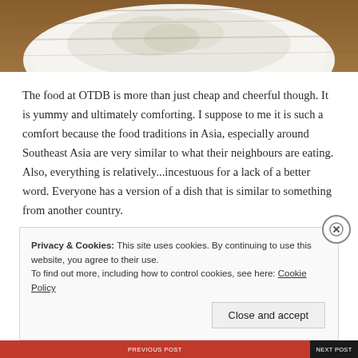[Figure (photo): Top portion of a food photo showing a white plate with what appears to be rice or a similar dish on a wooden table surface, partially cropped at the top of the page.]
The food at OTDB is more than just cheap and cheerful though. It is yummy and ultimately comforting. I suppose to me it is such a comfort because the food traditions in Asia, especially around Southeast Asia are very similar to what their neighbours are eating. Also, everything is relatively...incestuous for a lack of a better word. Everyone has a version of a dish that is similar to something from another country.
Privacy & Cookies: This site uses cookies. By continuing to use this website, you agree to their use.
To find out more, including how to control cookies, see here: Cookie Policy
Close and accept